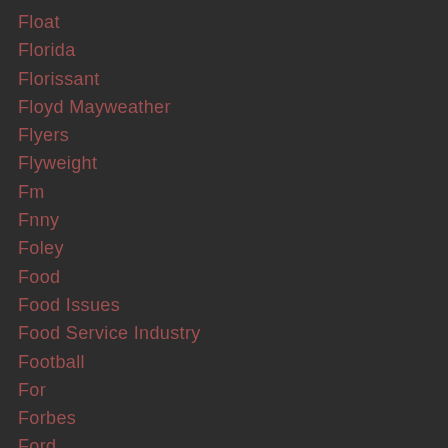Float
Florida
Florissant
Floyd Mayweather
Flyers
Flyweight
Fm
Fnny
Foley
Food
Food Issues
Food Service Industry
Football
For
Forbes
Ford
Forefathers
Foreign
Forest Park
Fort Hood